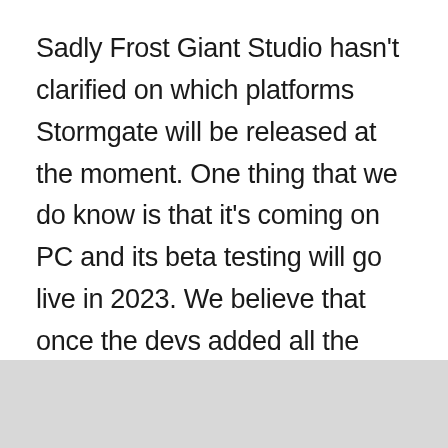Sadly Frost Giant Studio hasn't clarified on which platforms Stormgate will be released at the moment. One thing that we do know is that it's coming on PC and its beta testing will go live in 2023. We believe that once the devs added all the planned changes, and new content and